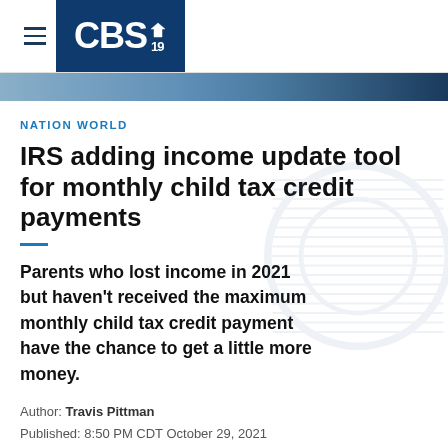CBS 19
NATION WORLD
IRS adding income update tool for monthly child tax credit payments
Parents who lost income in 2021 but haven't received the maximum monthly child tax credit payment have the chance to get a little more money.
Author: Travis Pittman
Published: 8:50 PM CDT October 29, 2021
Updated: 8:51 PM CDT October 29, 2021
The IRS is adding the ability next week for parents to